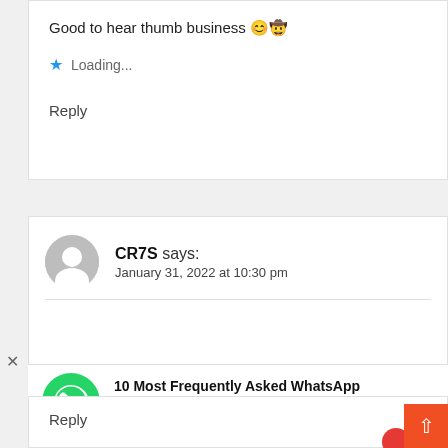Good to hear thumb business 😊🤠
⭐ Loading...
Reply
CR7S says:
January 31, 2022 at 10:30 pm
[Figure (other): WhatsApp messenger green logo icon]
10 Most Frequently Asked WhatsApp Messenger Questions Answered
Sponsored: Appurse
Reply